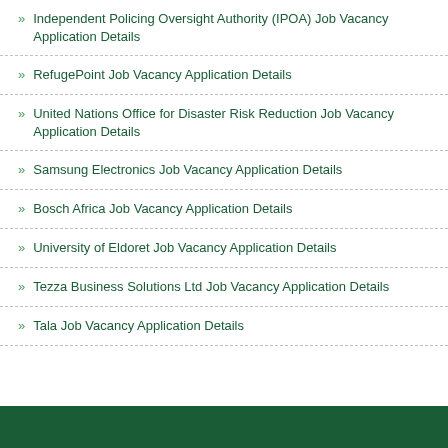Independent Policing Oversight Authority (IPOA) Job Vacancy Application Details
RefugePoint Job Vacancy Application Details
United Nations Office for Disaster Risk Reduction Job Vacancy Application Details
Samsung Electronics Job Vacancy Application Details
Bosch Africa Job Vacancy Application Details
University of Eldoret Job Vacancy Application Details
Tezza Business Solutions Ltd Job Vacancy Application Details
Tala Job Vacancy Application Details